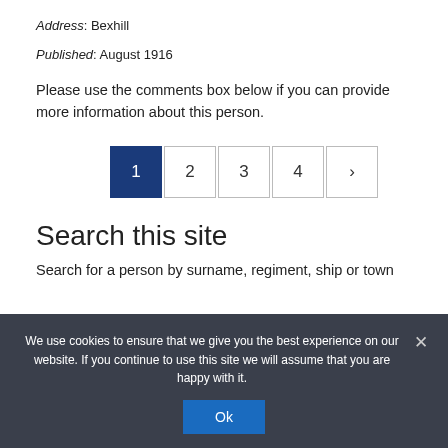Address: Bexhill
Published: August 1916
Please use the comments box below if you can provide more information about this person.
1 2 3 4 ›
Search this site
Search for a person by surname, regiment, ship or town
We use cookies to ensure that we give you the best experience on our website. If you continue to use this site we will assume that you are happy with it. Ok